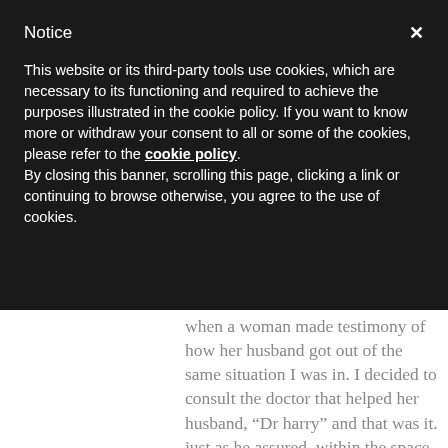Notice
This website or its third-party tools use cookies, which are necessary to its functioning and required to achieve the purposes illustrated in the cookie policy. If you want to know more or withdraw your consent to all or some of the cookies, please refer to the cookie policy.
By closing this banner, scrolling this page, clicking a link or continuing to browse otherwise, you agree to the use of cookies.
when a woman made testimony of how her husband got out of the same situation I was in. I decided to consult the doctor that helped her husband, “Dr harry” and that was it. just as he assured, within the space of 2-3 weeks. Everything became history, It was like God Have blessed me with a second chance, I found myself being